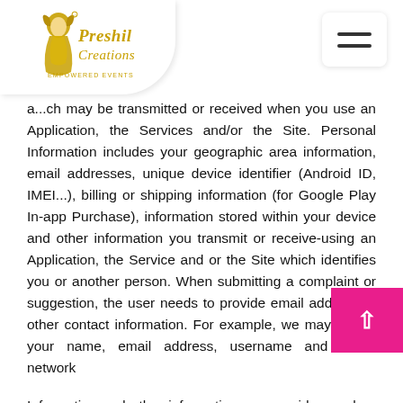[Figure (logo): Preshil Creations logo with golden decorative woman silhouette and script text]
a...ch may be transmitted or received when you use an Application, the Services and/or the Site. Personal Information includes your geographic area information, email addresses, unique device identifier (Android ID, IMEI...), billing or shipping information (for Google Play In-app Purchase), information stored within your device and other information you transmit or receive-using an Application, the Service and or the Site which identifies you or another person. When submitting a complaint or suggestion, the user needs to provide email address or other contact information. For example, we may collect your name, email address, username and social network
Information and other information you provide us when you register and set up an account, contact us by e-mail or use our services.